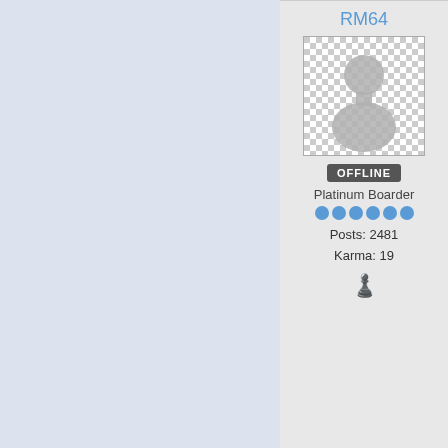[Figure (screenshot): Forum user profile panel showing username RM64, default avatar placeholder on checkered background, OFFLINE badge, Platinum Boarder rank, 6 blue dot stars, Posts: 2481, Karma: 19, and a pawn/chess piece emoji icon]
RM64
OFFLINE
Platinum Boarder
Posts: 2481
Karma: 19